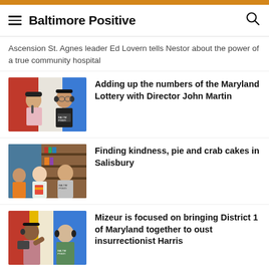Baltimore Positive
Ascension St. Agnes leader Ed Lovern tells Nestor about the power of a true community hospital
[Figure (photo): Two men wearing headphones in a podcast studio setting]
Adding up the numbers of the Maryland Lottery with Director John Martin
[Figure (photo): Group of people in a podcast studio setting]
Finding kindness, pie and crab cakes in Salisbury
[Figure (photo): Two people in conversation in a podcast studio]
Mizeur is focused on bringing District 1 of Maryland together to oust insurrectionist Harris
[Figure (photo): Person partially visible at bottom of page]
Senator Cardin explains the many ways